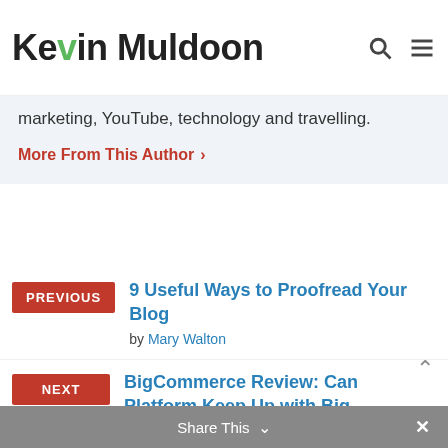Kevin Muldoon
marketing, YouTube, technology and travelling.
More From This Author ›
PREVIOUS – 9 Useful Ways to Proofread Your Blog by Mary Walton
NEXT – BigCommerce Review: Can Platform Keep Up with Big Alternatives?
Share This